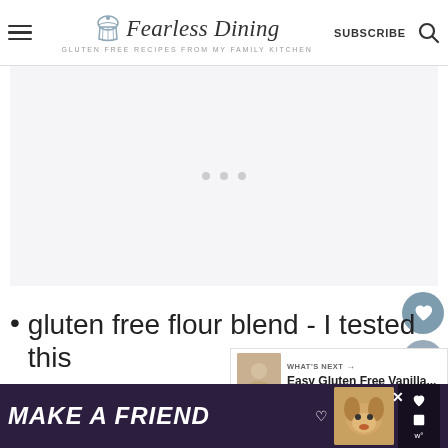Fearless Dining - GLUTEN FREE RECIPES FROM MY FAMILY KITCHEN
[Figure (screenshot): Large blurred/loading image placeholder area with three gray dots in the center]
[Figure (infographic): What's Next card showing Easy Gluten Free Vanilla... with thumbnail]
gluten free flour blend - I tested this
[Figure (photo): Bottom advertisement banner: MAKE A FRIEND with dog photo]